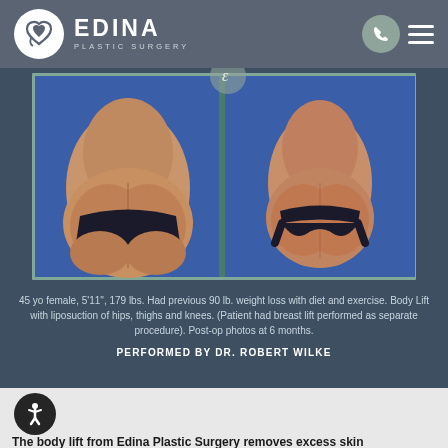EDINA PLASTIC SURGERY
[Figure (photo): Before and after body lift procedure photos showing posterior view of patient. Left image shows before, right image shows after with more contoured silhouette. Blue background.]
45 yo female, 5'11", 179 lbs. Had previous 90 lb. weight loss with diet and exercise. Body Lift with liposuction of hips, thighs and knees. (Patient had breast lift performed as separate procedure). Post-op photos at 6 months.
PERFORMED BY DR. ROBERT WILKE
[Figure (illustration): Accessibility icon button - circular dark button with white person/accessibility symbol]
The body lift from Edina (text partially cut off)